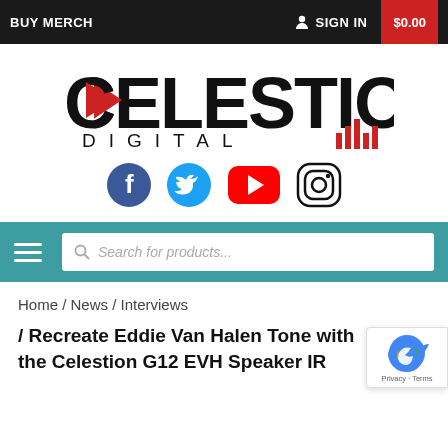BUY MERCH   SIGN IN   $0.00
[Figure (logo): Celestion Digital logo with large bold CELESTION text and red triangle in the C, with DIGITAL spelled out below with red bar chart icon]
[Figure (illustration): Social media icons row: Facebook, Twitter, YouTube, Instagram]
[Figure (infographic): Teal navigation bar with hamburger menu icon and search box placeholder 'Search for products...']
Home / News / Interviews
/ Recreate Eddie Van Halen Tone with the Celestion G12 EVH Speaker IR